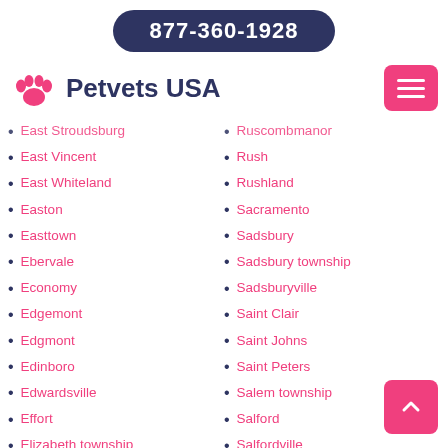877-360-1928
[Figure (logo): Petvets USA logo with pink paw print icon and dark blue text]
East Stroudsburg
East Vincent
East Whiteland
Easton
Easttown
Ebervale
Economy
Edgemont
Edgmont
Edinboro
Edwardsville
Effort
Elizabeth township
Ruscombmanor
Rush
Rushland
Sacramento
Sadsbury
Sadsbury township
Sadsburyville
Saint Clair
Saint Johns
Saint Peters
Salem township
Salford
Salfordville